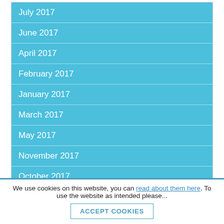July 2017
June 2017
April 2017
February 2017
January 2017
March 2017
May 2017
November 2017
October 2017
September 2017
2018
We use cookies on this website, you can read about them here. To use the website as intended please... ACCEPT COOKIES